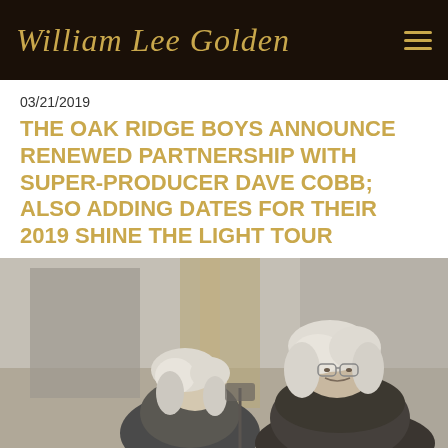William Lee Golden
03/21/2019
THE OAK RIDGE BOYS ANNOUNCE RENEWED PARTNERSHIP WITH SUPER-PRODUCER DAVE COBB; ALSO ADDING DATES FOR THEIR 2019 SHINE THE LIGHT TOUR
[Figure (photo): Black and white photo of two men with long white hair, appearing to be in a recording studio or indoor setting with curtains/walls in background.]